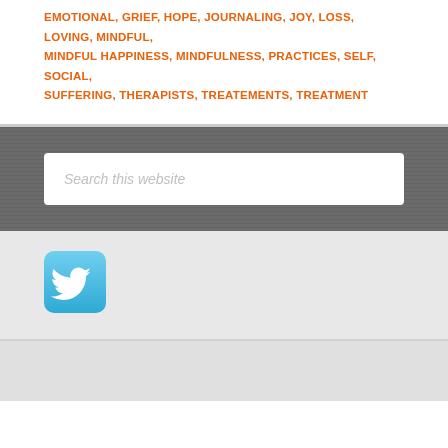EMOTIONAL, GRIEF, HOPE, JOURNALING, JOY, LOSS, LOVING, MINDFUL, MINDFUL HAPPINESS, MINDFULNESS, PRACTICES, SELF, SOCIAL, SUFFERING, THERAPISTS, TREATEMENTS, TREATMENT
Search this website
[Figure (logo): Twitter bird logo icon — rounded square with sky blue gradient background and white stylized bird]